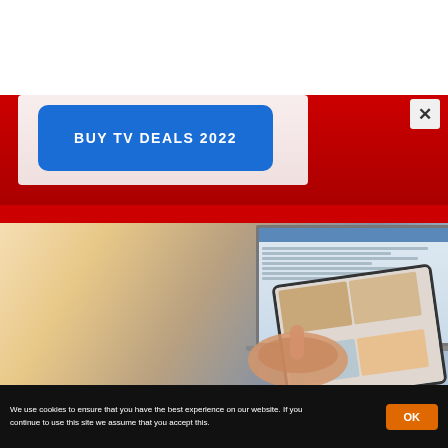[Figure (screenshot): Advertisement banner with blue 'BUY TV DEALS 2022' button on red background, with close (X) button in top right]
[Figure (photo): Person using a tablet device with a laptop computer in the background showing a website]
We use cookies to ensure that you have the best experience on our website. If you continue to use this site we assume that you accept this.
OK